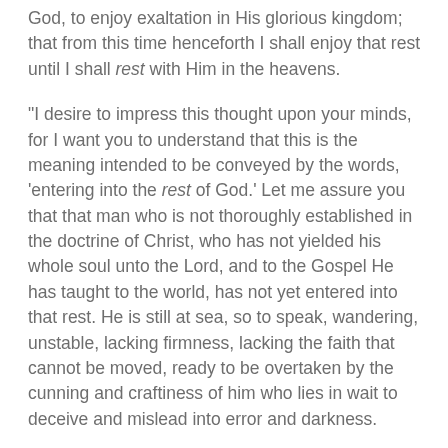God, to enjoy exaltation in His glorious kingdom; that from this time henceforth I shall enjoy that rest until I shall rest with Him in the heavens.
"I desire to impress this thought upon your minds, for I want you to understand that this is the meaning intended to be conveyed by the words, 'entering into the rest of God.' Let me assure you that that man who is not thoroughly established in the doctrine of Christ, who has not yielded his whole soul unto the Lord, and to the Gospel He has taught to the world, has not yet entered into that rest. He is still at sea, so to speak, wandering, unstable, lacking firmness, lacking the faith that cannot be moved, ready to be overtaken by the cunning and craftiness of him who lies in wait to deceive and mislead into error and darkness.
"While he that has received the testimony of Jesus Christ in his heart, he that has yielded his all to the kingdom of God and to the will of the Father, is so established, his heart is fixed; his